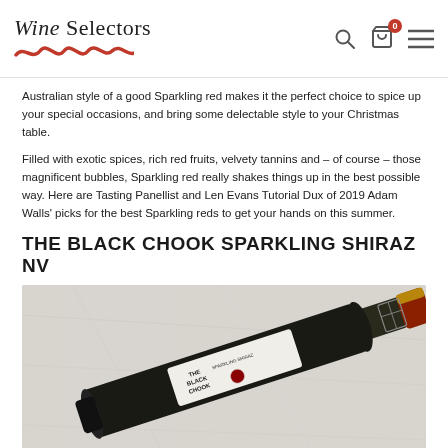Wine Selectors
Australian style of a good Sparkling red makes it the perfect choice to spice up your special occasions, and bring some delectable style to your Christmas table.
Filled with exotic spices, rich red fruits, velvety tannins and – of course – those magnificent bubbles, Sparkling red really shakes things up in the best possible way. Here are Tasting Panellist and Len Evans Tutorial Dux of 2019 Adam Walls' picks for the best Sparkling reds to get your hands on this summer.
THE BLACK CHOOK SPARKLING SHIRAZ NV
[Figure (photo): A bottle of The Black Chook Sparkling Shiraz NV wine lying diagonally on a light marble/stone surface. The bottle is dark green/black with a label reading THE BLACK CHOOK SPARKLING SHIRAZ. The foil cap is red/gold.]